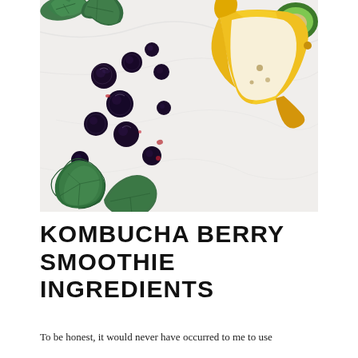[Figure (photo): Overhead flat-lay photo on a white marble surface showing smoothie ingredients: dark blueberries/cherries scattered, a peeled banana, green kale leaves, and a halved avocado in the top-right corner.]
KOMBUCHA BERRY SMOOTHIE INGREDIENTS
To be honest, it would never have occurred to me to use